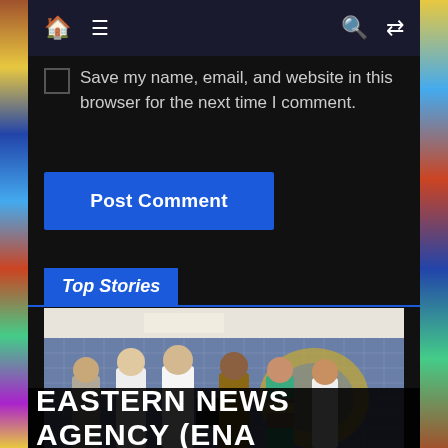Navigation bar with home, menu, search, and shuffle icons
Save my name, email, and website in this browser for the next time I comment.
Post Comment
Top Stories
[Figure (photo): Group of six people standing and posing in an office or event space with a decorative world map wall in the background. Two people in the center appear to be exchanging documents.]
EASTERN NEWS AGENCY (ENA